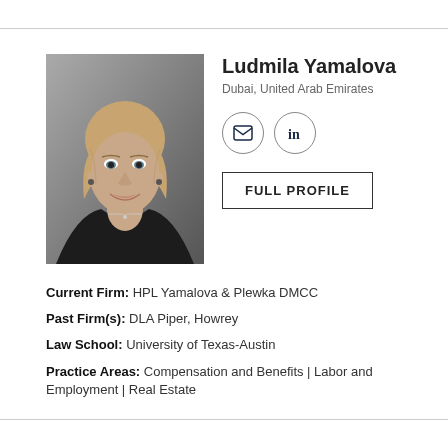[Figure (photo): Professional headshot of Ludmila Yamalova, a woman with blonde hair wearing a dark blazer, smiling against a grey background]
Ludmila Yamalova
Dubai, United Arab Emirates
FULL PROFILE
Current Firm: HPL Yamalova & Plewka DMCC
Past Firm(s): DLA Piper, Howrey
Law School: University of Texas-Austin
Practice Areas: Compensation and Benefits | Labor and Employment | Real Estate